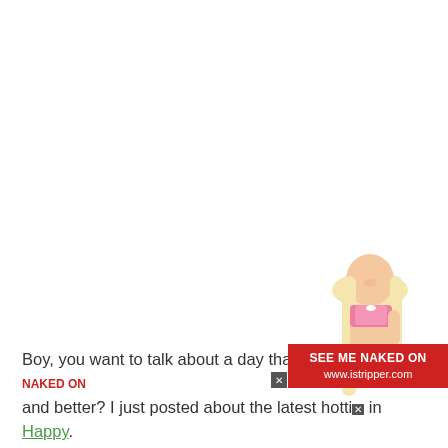[Figure (photo): A blonde woman in pink lingerie posing, cropped in the lower-right area of the page. An advertising overlay banner reads 'SEE ME NAKED ON www.istripper.com' with a close button.]
Boy, you want to talk about a day that just kee[ps getting better] and better? I just posted about the latest hotti[es] in Happy.